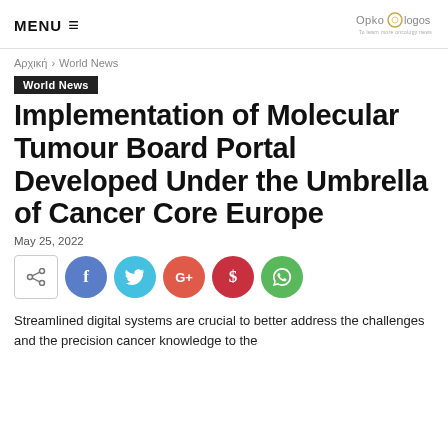MENU  |  Opko-logos
Αρχική › World News
World News
Implementation of Molecular Tumour Board Portal Developed Under the Umbrella of Cancer Core Europe
May 25, 2022
[Figure (infographic): Social share buttons: share icon box, Facebook (blue circle), Twitter (light blue circle), Google+ (red-orange circle), Pinterest (dark red circle), WhatsApp (green circle)]
Streamlined digital systems are crucial to better address the challenges and the precision cancer knowledge to the